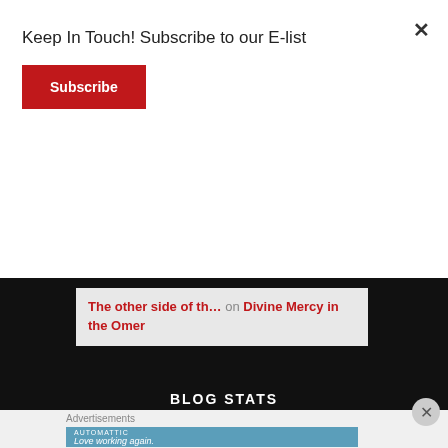Keep In Touch! Subscribe to our E-list
Subscribe
Head of the Year | H… on Al Gore, Amazon, Asteroids, an…
Head of the Year | H… on From Fatima to Medjugorje | Wh…
The other side of th… on Divine Mercy in the Omer
BLOG STATS
Advertisements
[Figure (other): Automattic advertisement banner with text 'Love working again.']